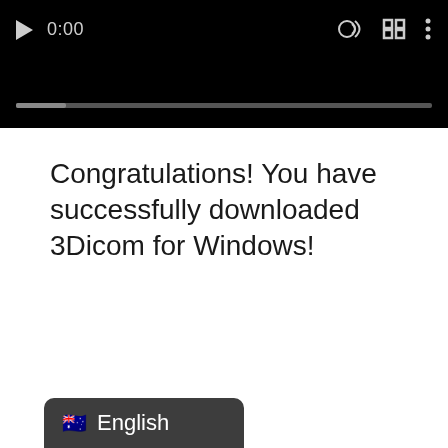[Figure (screenshot): Video player UI with black background showing play button, timestamp 0:00, volume icon, fullscreen icon, and menu icon, with a progress bar at the bottom]
Congratulations! You have successfully downloaded 3Dicom for Windows!
[Figure (screenshot): Language selector widget with Australian flag emoji and text 'English' on a dark grey rounded background]